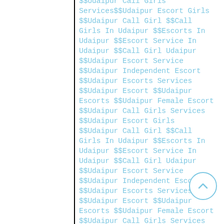$$Udaipur Call Girls Services$$Udaipur Escort Girls $$Udaipur Call Girl $$Call Girls In Udaipur $$Escorts In Udaipur $$Escort Service In Udaipur $$Call Girl Udaipur $$Udaipur Escort Service $$Udaipur Independent Escort $$Udaipur Escorts Services $$Udaipur Escort $$Udaipur Escorts $$Udaipur Female Escort $$Udaipur Call Girls Services $$Udaipur Escort Girls $$Udaipur Call Girl $$Call Girls In Udaipur $$Escorts In Udaipur $$Escort Service In Udaipur $$Call Girl Udaipur $$Udaipur Escort Service $$Udaipur Independent Escort $$Udaipur Escorts Services $$Udaipur Escort $$Udaipur Escorts $$Udaipur Female Escort $$Udaipur Call Girls Services $$Udaipur Escort Girls $$Udaipur Call Girl $$Call Girls In Udaipur $$Escorts In Udaipur $$Escort Service In Udaipur $$Call Girl Udaipur $$Udaipur Escort Service $$Udaipur Independent Escort $$Udaipur Escorts Services $$Udaipur Escort $$Udaipur Escorts $$Udaipur Female Escort $$Udaipur Call Girls Services $$Udaipur Escort Girls $$Udaipur Call Girl $$Call Girls In Udaipur
[Figure (other): A circular back-to-top button with an upward chevron arrow, outlined in light blue]